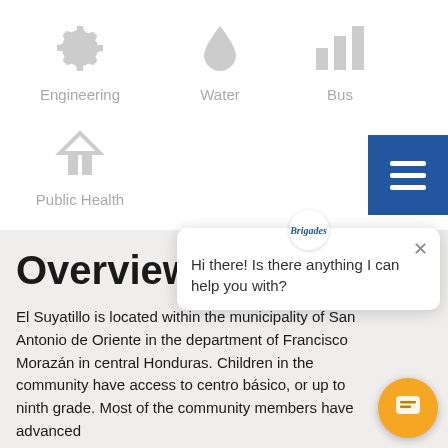[Figure (illustration): Gray gear icon representing Engineering category]
Engineering
[Figure (illustration): Gray water drop icon representing Water category]
Water
[Figure (illustration): Gray bar chart icon representing Business category (partially obscured by hamburger menu)]
Bus...
[Figure (illustration): Blue hamburger menu button with three white horizontal bars]
[Figure (illustration): Gray building/roof icon representing Public Health category]
Public Health
Overview
[Figure (screenshot): Chat popup widget with Brigades logo, close X button, and message: Hi there! Is there anything I can help you with?]
El Suyatillo is located within the municipality of San Antonio de Oriente in the department of Francisco Morazán in central Honduras. Children in the community have access to centro básico, or up to ninth grade. Most of the community members have advanced...